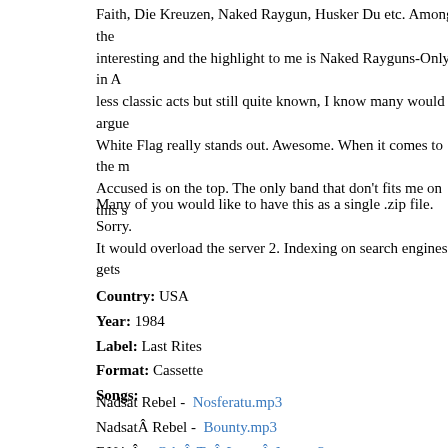Faith, Die Kreuzen, Naked Raygun, Husker Du etc. Among the interesting and the highlight to me is Naked Rayguns-Only in A less classic acts but still quite known, I know many would argue White Flag really stands out. Awesome. When it comes to the m Accused is on the top. The only band that don't fits me on this s
Many of you would like to have this as a single .zip file. Sorry. It would overload the server 2. Indexing on search engines gets
Country: USA
Year: 1984
Label: Last Rites
Format: Cassette
Songs:
Nadsat Rebel -Â Nosferatu.mp3
Nadsat Rebel -Â Bounty.mp3
F.U.'sÂ -Â OdeÂ ToÂ LarryÂ Joe.mp3
RightsÂ OfÂ TheÂ Accused -Â NoÂ FunÂ TillÂ I'm 21.mp3
RightsÂ OfÂ TheÂ Accused -Â FuckÂ Up.mp3